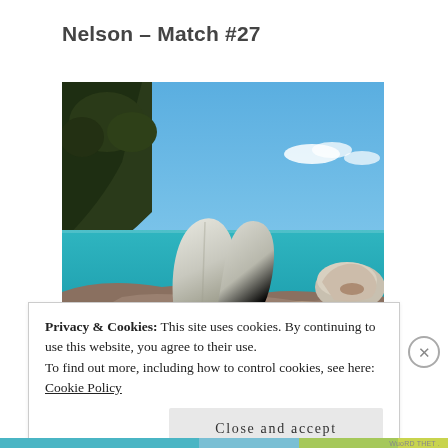Nelson – Match #27
[Figure (photo): Coastal scene showing two large split white boulders balanced on rocky shoreline with turquoise sea water and a headland covered with dark green trees on the left, blue sky with clouds in the background. Another large boulder partially visible on the right.]
Privacy & Cookies: This site uses cookies. By continuing to use this website, you agree to their use.
To find out more, including how to control cookies, see here:
Cookie Policy
Close and accept